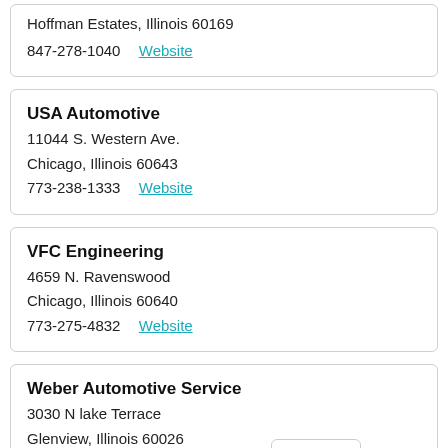Hoffman Estates, Illinois 60169
847-278-1040  Website
USA Automotive
11044 S. Western Ave.
Chicago, Illinois 60643
773-238-1333  Website
VFC Engineering
4659 N. Ravenswood
Chicago, Illinois 60640
773-275-4832  Website
Weber Automotive Service
3030 N lake Terrace
Glenview, Illinois 60026
847-865-3400  Website